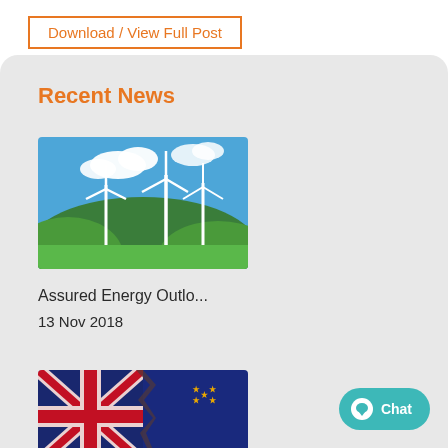Download / View Full Post
Recent News
[Figure (photo): Wind turbines on a green hillside with blue sky and clouds]
Assured Energy Outlo...
13 Nov 2018
[Figure (photo): UK and EU flags being torn apart, representing Brexit]